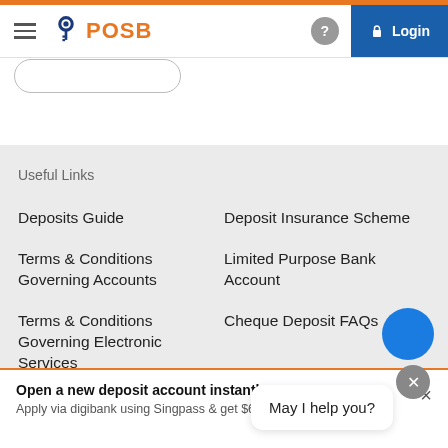POSB — Login
Useful Links
Deposits Guide
Deposit Insurance Scheme
Terms & Conditions Governing Accounts
Limited Purpose Bank Account
Terms & Conditions Governing Electronic Services
Cheque Deposit FAQs
Best Execution Policy
Others
May I help you?
Open a new deposit account instantly
Apply via digibank using Singpass & get $68.